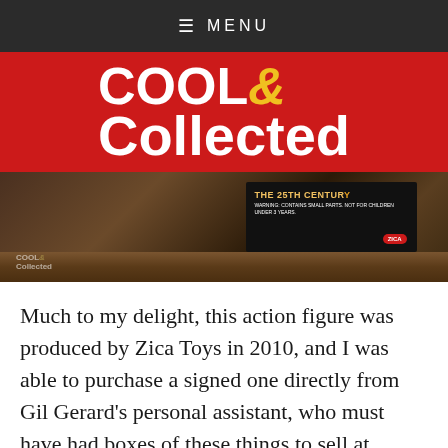≡ MENU
[Figure (logo): Cool & Collected logo — white bold text on red background, with a yellow ampersand]
[Figure (photo): Close-up photo of a Zica Toys action figure box on a wooden surface. The black box shows text about the 25th century. A Cool & Collected watermark is visible in the lower left corner.]
Much to my delight, this action figure was produced by Zica Toys in 2010, and I was able to purchase a signed one directly from Gil Gerard's personal assistant, who must have had boxes of these things to sell at conventions and shows.